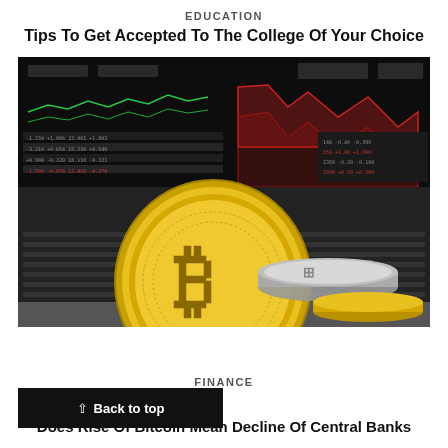EDUCATION
Tips To Get Accepted To The College Of Your Choice
[Figure (photo): Gold and silver Bitcoin coins standing against a laptop showing financial trading charts with red candlestick patterns in the background]
FINANCE
Back to top
Does Rise Of Bitcoin Mean Decline Of Central Banks